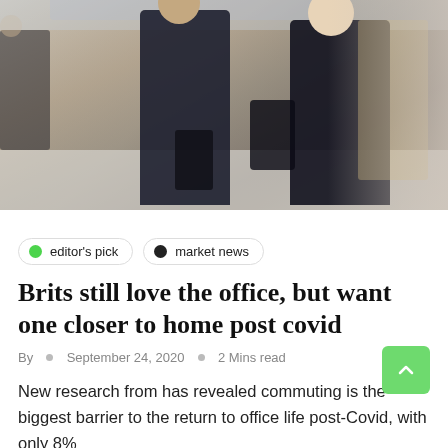[Figure (photo): Busy commuters walking through a transit station or office building lobby, motion blur visible, people carrying luggage and bags]
editor's pick
market news
Brits still love the office, but want one closer to home post covid
By  ○  September 24, 2020  ○  2 Mins read
New research from has revealed commuting is the biggest barrier to the return to office life post-Covid, with only 8%